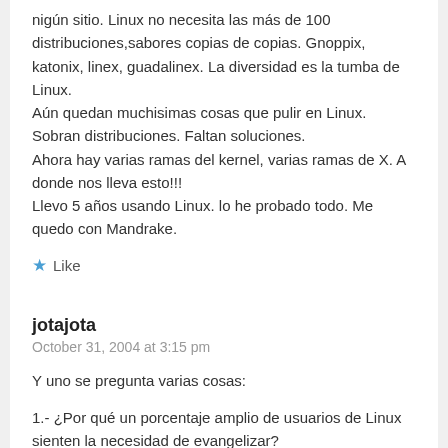nigún sitio. Linux no necesita las más de 100 distribuciones,sabores copias de copias. Gnoppix, katonix, linex, guadalinex. La diversidad es la tumba de Linux.
Aún quedan muchisimas cosas que pulir en Linux. Sobran distribuciones. Faltan soluciones.
Ahora hay varias ramas del kernel, varias ramas de X. A donde nos lleva esto!!!
Llevo 5 años usando Linux. lo he probado todo. Me quedo con Mandrake.
★ Like
jotajota
October 31, 2004 at 3:15 pm
Y uno se pregunta varias cosas:
1.- ¿Por qué un porcentaje amplio de usuarios de Linux sienten la necesidad de evangelizar?